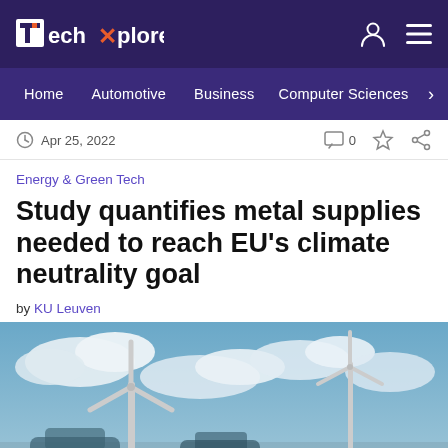TechXplore — Home | Automotive | Business | Computer Sciences
Apr 25, 2022
Energy & Green Tech
Study quantifies metal supplies needed to reach EU's climate neutrality goal
by KU Leuven
[Figure (photo): Wind turbines and electric vehicle under a blue cloudy sky]